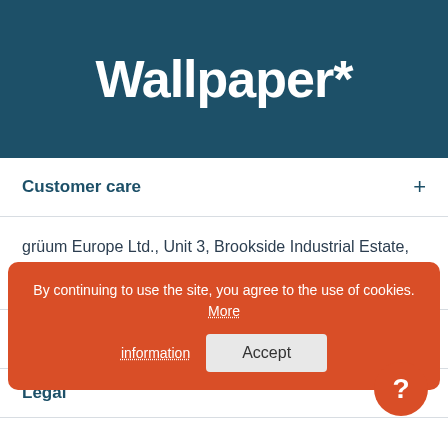Wallpaper*
Customer care
grüum Europe Ltd., Unit 3, Brookside Industrial Estate, Stockport, SK1 3BJ
More from grüum
By continuing to use the site, you agree to the use of cookies. More information
Legal